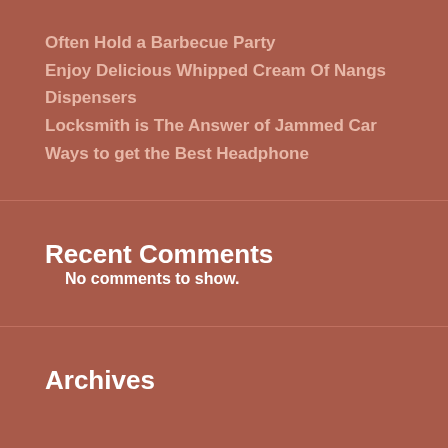Often Hold a Barbecue Party
Enjoy Delicious Whipped Cream Of Nangs Dispensers
Locksmith is The Answer of Jammed Car
Ways to get the Best Headphone
Recent Comments
No comments to show.
Archives